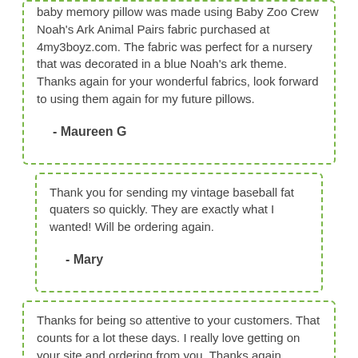baby memory pillow was made using Baby Zoo Crew Noah's Ark Animal Pairs fabric purchased at 4my3boyz.com. The fabric was perfect for a nursery that was decorated in a blue Noah's ark theme. Thanks again for your wonderful fabrics, look forward to using them again for my future pillows.

- Maureen G
Thank you for sending my vintage baseball fat quaters so quickly. They are exactly what I wanted! Will be ordering again.

- Mary
Thanks for being so attentive to your customers. That counts for a lot these days. I really love getting on your site and ordering from you. Thanks again.